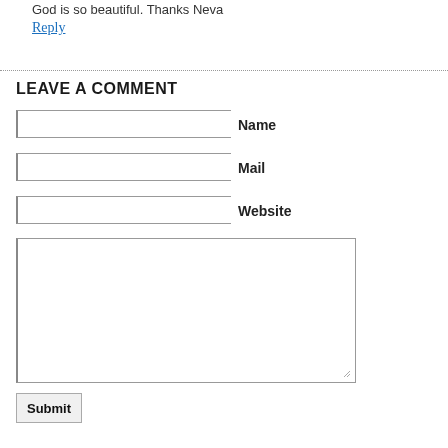God is so beautiful. Thanks Neva
Reply
LEAVE A COMMENT
Name
Mail
Website
Submit